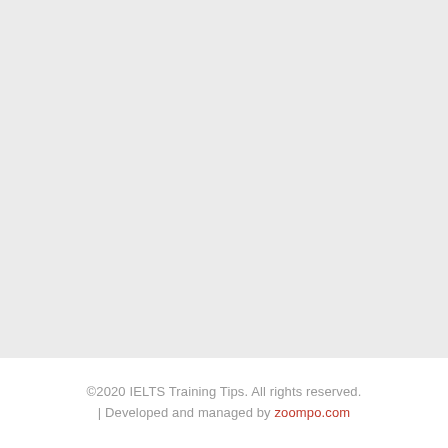[Figure (other): Large light grey blank area filling the upper portion of the page]
©2020 IELTS Training Tips. All rights reserved. | Developed and managed by zoompo.com